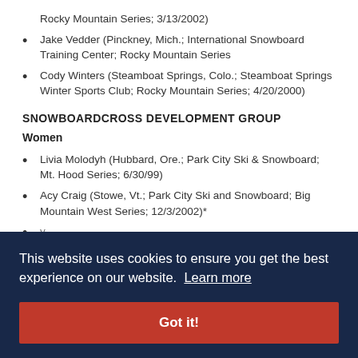Rocky Mountain Series; 3/13/2002)
Jake Vedder (Pinckney, Mich.; International Snowboard Training Center; Rocky Mountain Series
Cody Winters (Steamboat Springs, Colo.; Steamboat Springs Winter Sports Club; Rocky Mountain Series; 4/20/2000)
SNOWBOARDCROSS DEVELOPMENT GROUP
Women
Livia Molodyh (Hubbard, Ore.; Park City Ski & Snowboard; Mt. Hood Series; 6/30/99)
Acy Craig (Stowe, Vt.; Park City Ski and Snowboard; Big Mountain West Series; 12/3/2002)*
This website uses cookies to ensure you get the best experience on our website. Learn more
Got it!